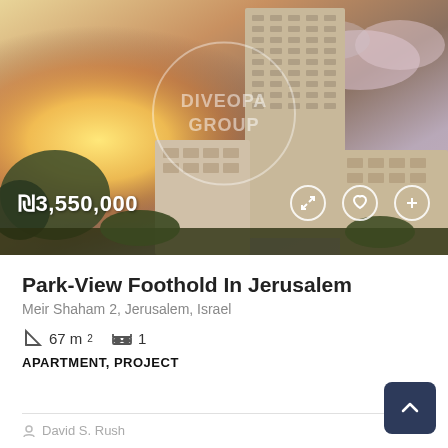[Figure (photo): Architectural rendering of a tall modern residential tower in Jerusalem at sunset/dusk, with warm golden sky on the left and purple-pink clouds on the right. A watermark circle with 'DIVEOPA GROUP' text is overlaid on the image. Price overlay shows ₪3,550,000 at bottom left, with expand, favorite, and add icons at bottom right.]
Park-View Foothold In Jerusalem
Meir Shaham 2, Jerusalem, Israel
67 m² | 1 bedroom
APARTMENT, PROJECT
David S. Rush